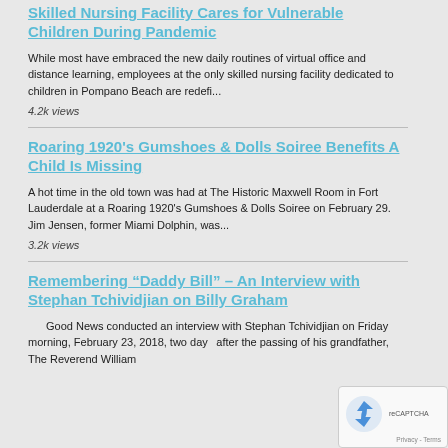Skilled Nursing Facility Cares for Vulnerable Children During Pandemic
While most have embraced the new daily routines of virtual office and distance learning, employees at the only skilled nursing facility dedicated to children in Pompano Beach are redefi...
4.2k views
Roaring 1920's Gumshoes & Dolls Soiree Benefits A Child Is Missing
A hot time in the old town was had at The Historic Maxwell Room in Fort Lauderdale at a Roaring 1920's Gumshoes & Dolls Soiree on February 29. Jim Jensen, former Miami Dolphin, was...
3.2k views
Remembering “Daddy Bill” – An Interview with Stephan Tchividjian on Billy Graham
Good News conducted an interview with Stephan Tchividjian on Friday morning, February 23, 2018, two days after the passing of his grandfather, The Reverend William